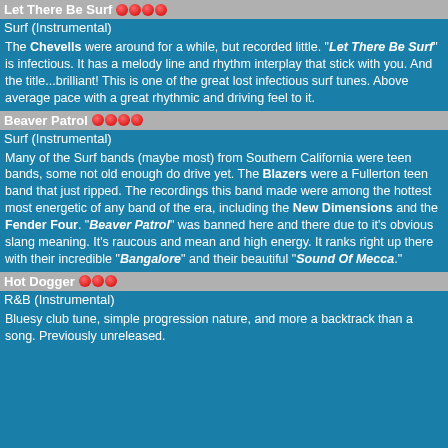Let There Be Surf oooo
Surf (Instrumental)
The Chevells were around for a while, but recorded little. "Let There Be Surf" is infectious. It has a melody line and rhythm interplay that stick with you. And the title...brilliant! This is one of the great lost infectious surf tunes. Above average pace with a great rhythmic and driving feel to it.
Beaver Patrol oooo
Surf (Instrumental)
Many of the Surf bands (maybe most) from Southern California were teen bands, some not old enough do drive yet. The Blazers were a Fullerton teen band that just ripped. The recordings this band made were among the hottest most energetic of any band of the era, including the New Dimensions and the Fender Four. "Beaver Patrol" was banned here and there due to it's obvious slang meaning. It's raucous and mean and high energy. It ranks right up there with their incredible "Bangalore" and their beautiful "Sound Of Mecca."
Hot Dogger ooo
R&B (Instrumental)
Bluesy club tune, simple progression nature, and more a backtrack than a song. Previously unreleased.